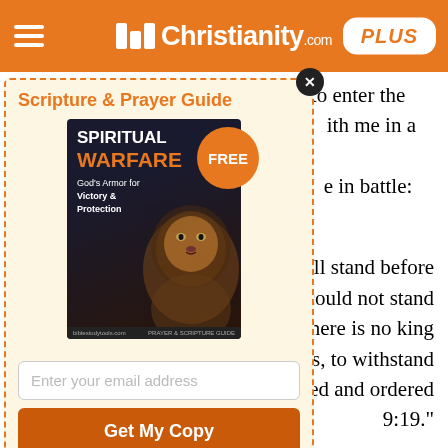Christianity.com PLUS
and who will appoint me the time? to enter the lists with me, and litigate the point with me in a court of law? Who will go before me in battle:
[Figure (other): Scripture & Prayer Guide modal popup featuring a free 'Spiritual Warfare: God's Armor for Victory & Protection' book cover with a lion image, an email input field, a Get My Copy button, and footer disclaimer text.]
at will stand before he could not stand m, "there is no king that is, to withstand ppointed and ordered 9:19."
venis?" Cocceius,
he counsel of the Lord